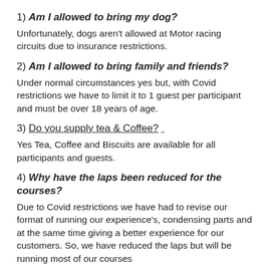1) Am I allowed to bring my dog?
Unfortunately, dogs aren't allowed at Motor racing circuits due to insurance restrictions.
2) Am I allowed to bring family and friends?
Under normal circumstances yes but, with Covid restrictions we have to limit it to 1 guest per participant and must be over 18 years of age.
3) _Do you supply tea & Coffee? _
Yes Tea, Coffee and Biscuits are available for all participants and guests.
4) Why have the laps been reduced for the courses?
Due to Covid restrictions we have had to revise our format of running our experience's, condensing parts and at the same time giving a better experience for our customers. So, we have reduced the laps but will be running most of our courses